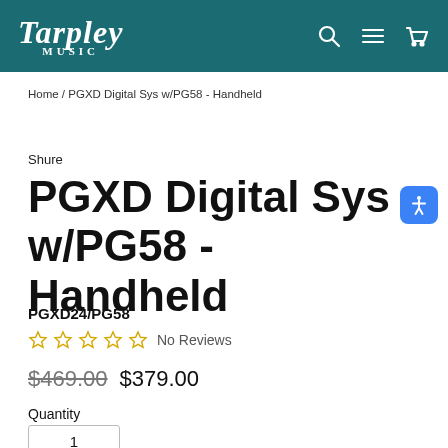Tarpley MUSIC
Home / PGXD Digital Sys w/PG58 - Handheld
Shure
PGXD Digital Sys w/PG58 - Handheld
PGXD24/PG58
☆ ☆ ☆ ☆ ☆ No Reviews
$469.00 $379.00
Quantity